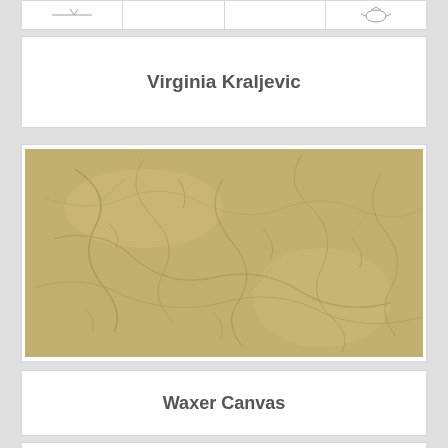[Figure (other): Partial row of thumbnail images at top of page]
Virginia Kraljevic
[Figure (photo): Close-up photograph of waxed canvas material showing tan/khaki color with crumpled texture and visible surface creases]
Waxer Canvas
[Figure (other): Partial card at bottom of page]